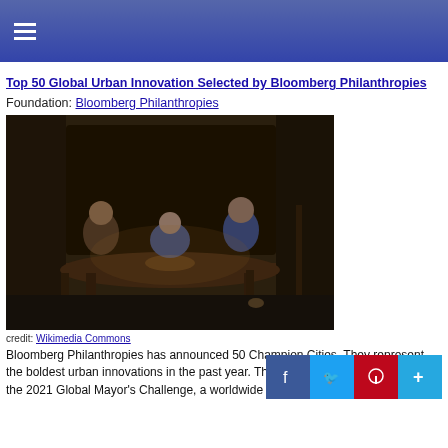☰ (hamburger menu)
Top 50 Global Urban Innovation Selected by Bloomberg Philanthropies
Foundation: Bloomberg Philanthropies
[Figure (illustration): Oil painting depicting a family or group of people seated around a table in a dimly lit rustic interior, studying or reading by firelight. Painted in dark earth tones.]
credit: Wikimedia Commons
Bloomberg Philanthropies has announced 50 Champion Cities. They represent the boldest urban innovations in the past year. They will enter the final stage of the 2021 Global Mayor's Challenge, a worldwide competition for promising ideas.